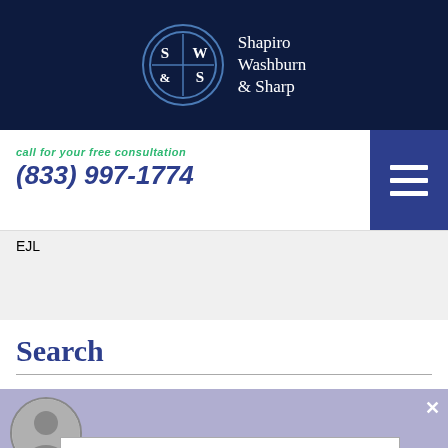[Figure (logo): Shapiro Washburn & Sharp law firm logo with circular seal and firm name in white text on dark navy background]
call for your free consultation
(833) 997-1774
EJL
Search
[Figure (screenshot): Chat popup overlay showing Shapiro, Washburn & Sharp with avatar and search input box. Text: 'Shapiro, Washburn & Sharp' and 'Need legal assistance? Get help instantly!']